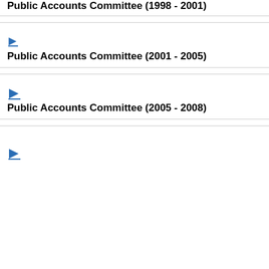Public Accounts Committee (1998 - 2001)
Public Accounts Committee (2001 - 2005)
Public Accounts Committee (2005 - 2008)
[Figure (illustration): Blue right-pointing triangle arrow icon with underline, used as a navigation/expand indicator]
[Figure (illustration): Blue right-pointing triangle arrow icon with underline, used as a navigation/expand indicator]
[Figure (illustration): Blue right-pointing triangle arrow icon with underline, used as a navigation/expand indicator]